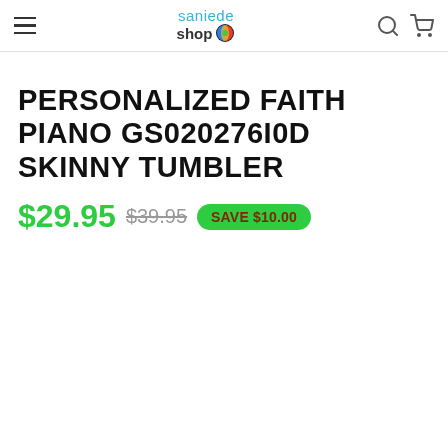saniede shop
PERSONALIZED FAITH PIANO GS020276I0D SKINNY TUMBLER
$29.95  $39.95  SAVE $10.00